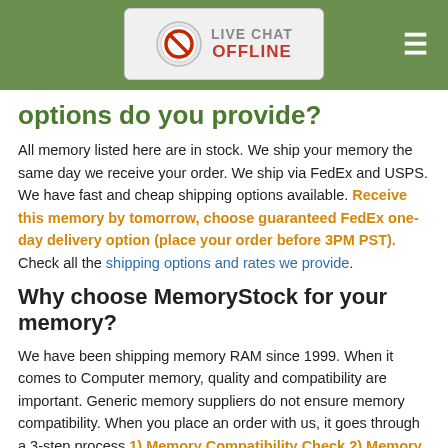LIVE CHAT OFFLINE
options do you provide?
All memory listed here are in stock. We ship your memory the same day we receive your order. We ship via FedEx and USPS. We have fast and cheap shipping options available. Receive this memory by tomorrow, choose guaranteed FedEx one-day delivery option (place your order before 3PM PST). Check all the shipping options and rates we provide.
Why choose MemoryStock for your memory?
We have been shipping memory RAM since 1999. When it comes to Computer memory, quality and compatibility are important. Generic memory suppliers do not ensure memory compatibility. When you place an order with us, it goes through a 3-step process 1) Memory Compatibility Check 2) Memory Quality Check 3) Quality Shipment Packaging. We make sure the memory you receive is top quality and 100% compatible with your Computer. Our expert after sales team